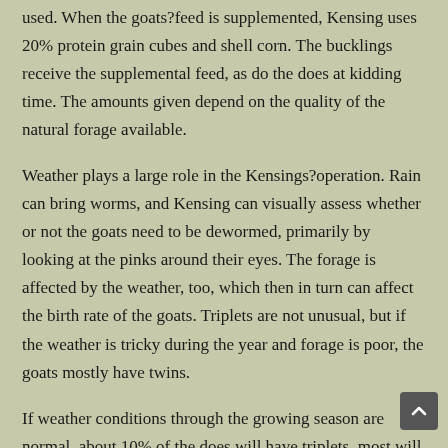used. When the goats?feed is supplemented, Kensing uses 20% protein grain cubes and shell corn. The bucklings receive the supplemental feed, as do the does at kidding time. The amounts given depend on the quality of the natural forage available.
Weather plays a large role in the Kensings?operation. Rain can bring worms, and Kensing can visually assess whether or not the goats need to be dewormed, primarily by looking at the pinks around their eyes. The forage is affected by the weather, too, which then in turn can affect the birth rate of the goats. Triplets are not unusual, but if the weather is tricky during the year and forage is poor, the goats mostly have twins.
If weather conditions through the growing season are normal, about 10% of the does will have triplets, most will have twins, and there will also be single births. The